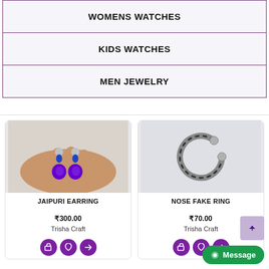| WOMENS WATCHES |
| KIDS WATCHES |
| MEN JEWELRY |
[Figure (photo): Product card showing Jaipuri Earring - hand holding blue and purple earrings]
[Figure (photo): Product card showing Nose Fake Ring - silver twisted ring on white background]
JAIPURI EARRING
₹300.00
Trisha Craft
NOSE FAKE RING
₹70.00
Trisha Craft